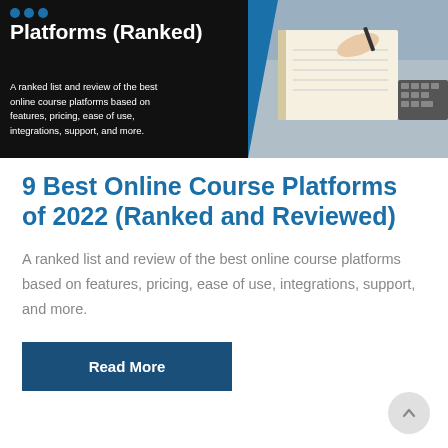[Figure (photo): Hero banner image with dark background showing title 'Platforms (Ranked)' on the left side with white text, a blue diagonal slash, and a photo of someone writing in a notebook with a keyboard on the right]
9 Best Online Course Platforms of 2022 (Ranked and Reviewed)
A ranked list and review of the best online course platforms based on features, pricing, ease of use, integrations, support, and more.